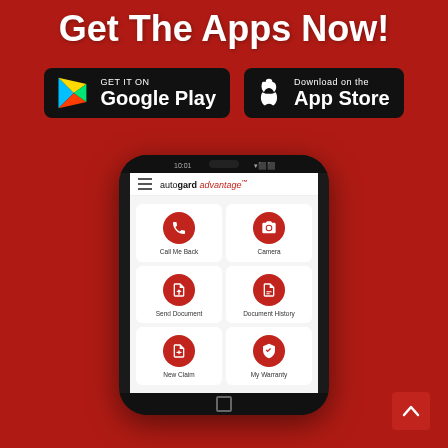Get The Apps Now!
[Figure (logo): Google Play Store badge — black rounded rectangle with Google Play triangle logo and text 'GET IT ON Google Play']
[Figure (logo): Apple App Store badge — black rounded rectangle with Apple logo and text 'Download on the App Store']
[Figure (screenshot): Smartphone showing autogard advantage app with 6 menu items in a 2x3 grid: Call Me Back, Camera, Send Document, Document History, New Claim, My Warranty]
[Figure (other): Red scroll-to-top button with upward chevron arrow in bottom right corner]